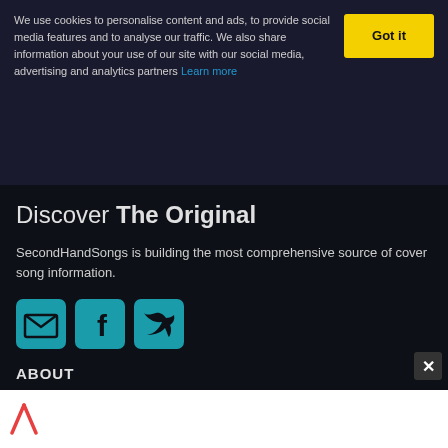We use cookies to personalise content and ads, to provide social media features and to analyse our traffic. We also share information about your use of our site with our social media, advertising and analytics partners Learn more
Got it
Discover The Original
SecondHandSongs is building the most comprehensive source of cover song information.
[Figure (illustration): Three social media icons in teal: email/envelope, Facebook, Twitter]
ABOUT
» Introduction
» FAQ
» Glossary
» Music licensing